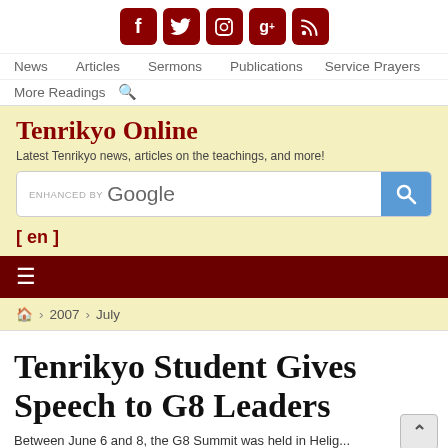[Figure (other): Social media icons: Facebook, Twitter, Instagram, Google+, RSS — dark red rounded square buttons]
News   Articles   Sermons   Publications   Service Prayers   More Readings
Tenrikyo Online
Latest Tenrikyo news, articles on the teachings, and more!
[Figure (other): Enhanced by Google search bar with blue search button]
[ en ]
[Figure (other): Dark red hamburger menu bar with three horizontal lines icon]
🏠 › 2007 › July
Tenrikyo Student Gives Speech to G8 Leaders
Between June 6 and 8, the G8 Summit was held in Heilige...